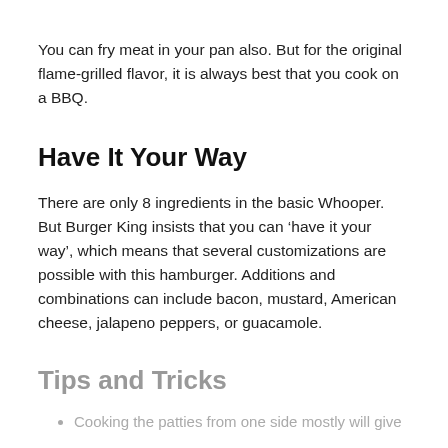You can fry meat in your pan also. But for the original flame-grilled flavor, it is always best that you cook on a BBQ.
Have It Your Way
There are only 8 ingredients in the basic Whooper. But Burger King insists that you can ‘have it your way’, which means that several customizations are possible with this hamburger. Additions and combinations can include bacon, mustard, American cheese, jalapeno peppers, or guacamole.
Tips and Tricks
Cooking the patties from one side mostly will give